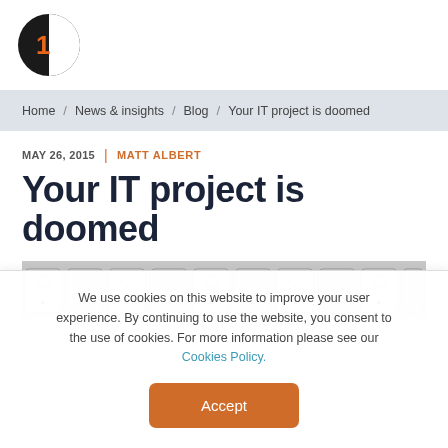[Figure (logo): 1E company logo: black and white circle with orange '1E' text]
Home / News & insights / Blog / Your IT project is doomed
MAY 26, 2015 | MATT ALBERT
Your IT project is doomed
[Figure (photo): Close-up photo of keyboard keys in a row]
We use cookies on this website to improve your user experience. By continuing to use the website, you consent to the use of cookies. For more information please see our Cookies Policy.
Accept